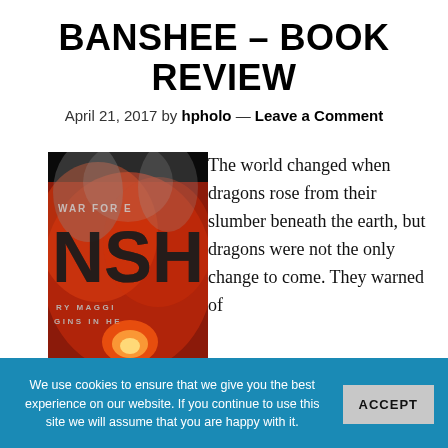BANSHEE – BOOK REVIEW
April 21, 2017 by hpholo — Leave a Comment
[Figure (illustration): Book cover for 'War for Banshee' by Maggie Gins in He — dark red and black fantasy cover with fire and smoke, large stylized letters NSH visible]
The world changed when dragons rose from their slumber beneath the earth, but dragons were not the only change to come. They warned of
We use cookies to ensure that we give you the best experience on our website. If you continue to use this site we will assume that you are happy with it.